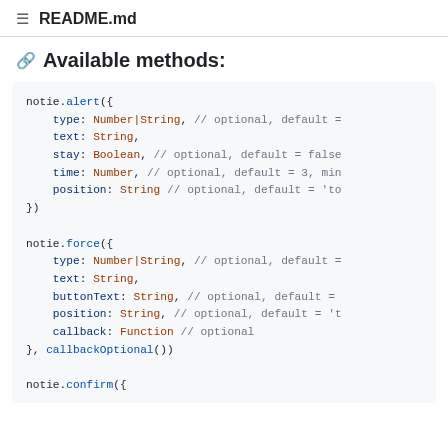README.md
🔗 Available methods:
[Figure (screenshot): Code block showing notie.alert() and notie.force() JavaScript API method signatures with typed parameters and comments, plus the beginning of notie.confirm(]
notie.confirm({